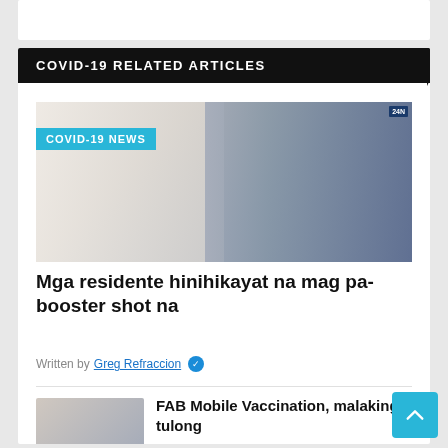COVID-19 RELATED ARTICLES
[Figure (photo): Photo of a person in white coat (medical worker) receiving or giving a COVID-19 vaccination, with another person in a gray shirt in the background. A cyan 'COVID-19 NEWS' badge overlays the top-left of the image.]
Mga residente hinihikayat na mag pa- booster shot na
Written by Greg Refraccion ✓
FAB Mobile Vaccination, malaking tulong
by Zeny Soriano - 1Bataan ✓